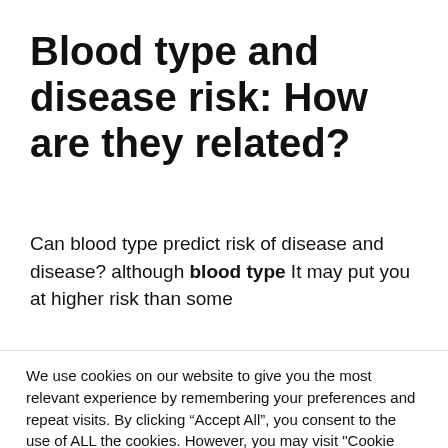Blood type and disease risk: How are they related?
Can blood type predict risk of disease and disease? although blood type It may put you at higher risk than some
We use cookies on our website to give you the most relevant experience by remembering your preferences and repeat visits. By clicking “Accept All”, you consent to the use of ALL the cookies. However, you may visit "Cookie Settings" to provide a controlled consent.